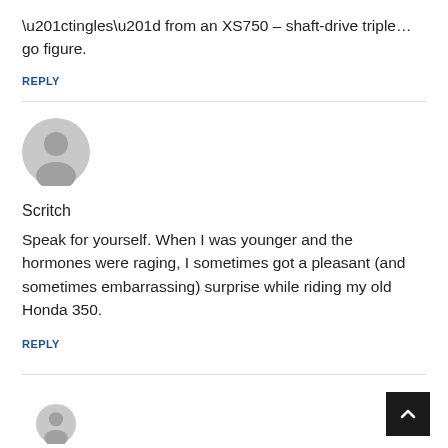“tingles” from an XS750 – shaft-drive triple…go figure.
REPLY
[Figure (illustration): Generic gray user avatar icon]
Scritch
Speak for yourself. When I was younger and the hormones were raging, I sometimes got a pleasant (and sometimes embarrassing) surprise while riding my old Honda 350.
REPLY